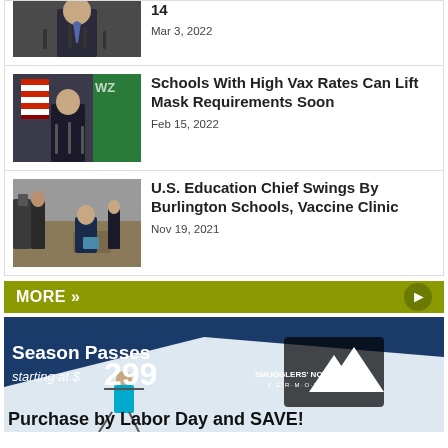[Figure (photo): Person at podium with microphones (partial, cropped at top)]
14
Mar 3, 2022
[Figure (photo): Person in suit at press conference with US flag and green banner]
Schools With High Vax Rates Can Lift Mask Requirements Soon
Feb 15, 2022
[Figure (photo): People in a school or clinic setting with cameras and media]
U.S. Education Chief Swings By Burlington Schools, Vaccine Clinic
Nov 19, 2021
MORE »
[Figure (photo): Smugglers' Notch Vermont ski resort advertisement — Season Passes starting at $299, Purchase by Labor Day and SAVE!]